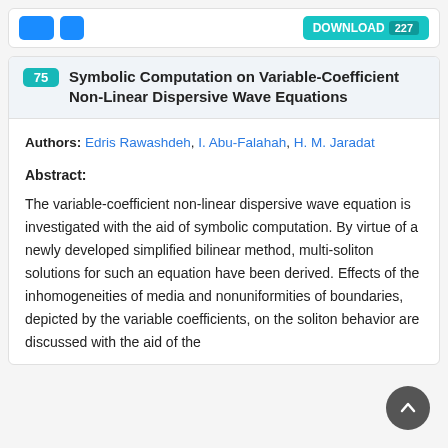75 Symbolic Computation on Variable-Coefficient Non-Linear Dispersive Wave Equations
Authors: Edris Rawashdeh, I. Abu-Falahah, H. M. Jaradat
Abstract:
The variable-coefficient non-linear dispersive wave equation is investigated with the aid of symbolic computation. By virtue of a newly developed simplified bilinear method, multi-soliton solutions for such an equation have been derived. Effects of the inhomogeneities of media and nonuniformities of boundaries, depicted by the variable coefficients, on the soliton behavior are discussed with the aid of the